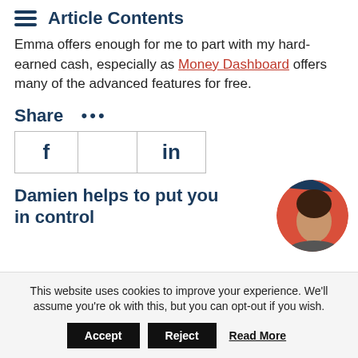Article Contents
Emma offers enough for me to part with my hard-earned cash, especially as Money Dashboard offers many of the advanced features for free.
Share
[Figure (other): Social share icons for Facebook (f), Twitter (bird), and LinkedIn (in) arranged in a horizontal table with borders]
Damien helps to put you in control
[Figure (photo): Circular headshot of a man (Damien) with dark hair, set against a red and dark blue circular background]
This website uses cookies to improve your experience. We'll assume you're ok with this, but you can opt-out if you wish.